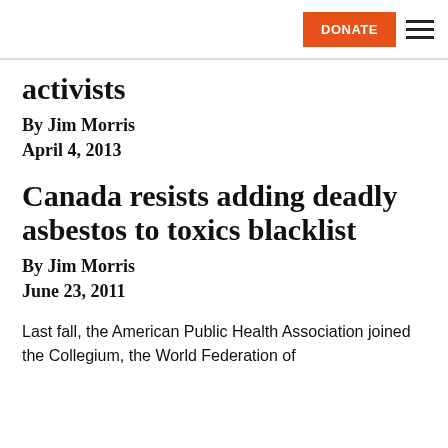DONATE [hamburger menu]
activists
By Jim Morris
April 4, 2013
Canada resists adding deadly asbestos to toxics blacklist
By Jim Morris
June 23, 2011
Last fall, the American Public Health Association joined the Collegium, the World Federation of